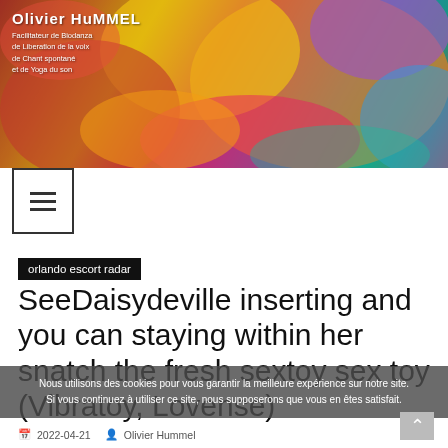Olivier HuMMEL
Facilitateur de Biodanza de Liberation de la voix de Chant spontané et de Yoga du son
[Figure (photo): Colorful hands holding Holi powder — header banner photo]
≡ (hamburger menu icon)
orlando escort radar
SeeDaisydeville inserting and you can staying within her snatch the fresh sextoy sex toy (Vibratoy, Lovense)
Nous utilisons des cookies pour vous garantir la meilleure expérience sur notre site. Si vous continuez à utiliser ce site, nous supposerons que vous en êtes satisfait.
2022-04-21   Olivier Hummel